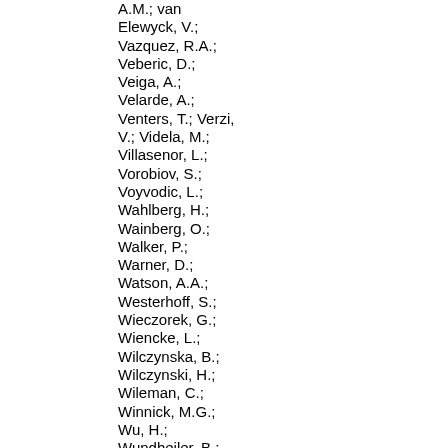A.M.; van Elewyck, V.; Vazquez, R.A.; Veberic, D.; Veiga, A.; Velarde, A.; Venters, T.; Verzi, V.; Videla, M.; Villasenor, L.; Vorobiov, S.; Voyvodic, L.; Wahlberg, H.; Wainberg, O.; Walker, P.; Warner, D.; Watson, A.A.; Westerhoff, S.; Wieczorek, G.; Wiencke, L.; Wilczynska, B.; Wilczynski, H.; Wileman, C.; Winnick, M.G.; Wu, H.; Wundheiler, B.; Yamamoto, T.; Younk, P.; Zas, E.; Zavrtanik, D.; Zavrtanik, M.; Zech, A.; Zepeda, A.